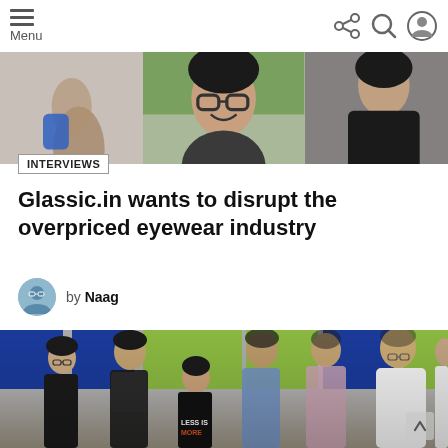Menu
[Figure (photo): Top banner photo strip showing three people, likely wearing glasses or holding eyewear products]
INTERVIEWS
Glassic.in wants to disrupt the overpriced eyewear industry
by Naag
[Figure (photo): Group photo of approximately 7 young people posing in a room with blue and green lockers. One person in the front is wearing a shirt that says LESS IS MORE.]